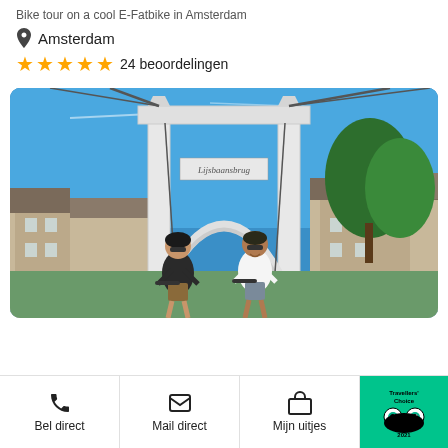Bike tour on a cool E-Fatbike in Amsterdam
Amsterdam
24 beoordelingen
[Figure (photo): Two cyclists riding E-fatbikes under a white Dutch drawbridge (Lijsbaansbrug) in Amsterdam on a sunny day, with blue sky, trees, and traditional Dutch buildings in the background.]
Bel direct
Mail direct
Mijn uitjes